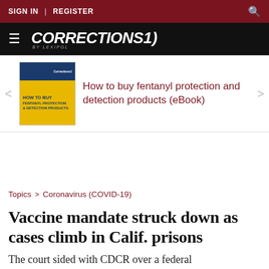SIGN IN | REGISTER
[Figure (logo): Corrections1 by Lexipol logo on black background with hamburger menu icon]
[Figure (photo): Promotional banner: How to buy fentanyl protection and detection products (eBook) with book cover image]
Topics > Coronavirus (COVID-19)
Vaccine mandate struck down as cases climb in Calif. prisons
The court sided with CDCR over a federal